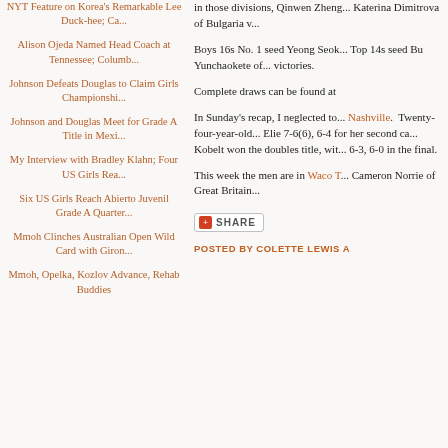NYT Feature on Korea's Remarkable Lee Duck-hee; Ca...
Alison Ojeda Named Head Coach at Tennessee; Columb...
Johnson Defeats Douglas to Claim Girls Championshi...
Johnson and Douglas Meet for Grade A Title in Mexi...
My Interview with Bradley Klahn; Four US Girls Rea...
Six US Girls Reach Abierto Juvenil Grade A Quarter...
Mmoh Clinches Australian Open Wild Card with Giron...
Mmoh, Opelka, Kozlov Advance, Rehab Buddies
in those divisions, Qinwen Zheng... Katerina Dimitrova of Bulgaria v...
Boys 16s No. 1 seed Yeong Seok... Top 14s seed Bu Yunchaokete of... victories.
Complete draws can be found at
In Sunday's recap, I neglected to... Nashville. Twenty-four-year-old... Elie 7-6(6), 6-4 for her second ca... Kobelt won the doubles title, wit... 6-3, 6-0 in the final.
This week the men are in Waco T... Cameron Norrie of Great Britain...
[Figure (other): Share button with red plus icon and uppercase SHARE text]
POSTED BY COLETTE LEWIS A